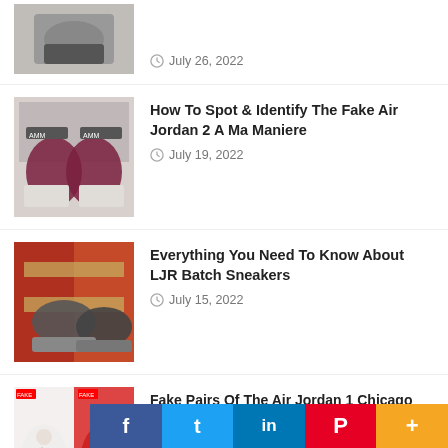[Figure (photo): Partial sneaker image, top cropped]
July 26, 2022
[Figure (photo): Rear view of maroon/grey Air Jordan 2 A Ma Maniere sneakers]
How To Spot & Identify The Fake Air Jordan 2 A Ma Maniere
July 19, 2022
[Figure (photo): Dark grey sneakers arranged on a shelf]
Everything You Need To Know About LJR Batch Sneakers
July 15, 2022
[Figure (photo): Air Jordan 1 Chicago with fake/real comparison tags]
Fake Pairs Of The Air Jordan 1 Chicago Reimagined Have Already Surfaced, Beware!!
July 7, 2022
[Figure (photo): Partial sneaker image at bottom]
f
t
in
P
+